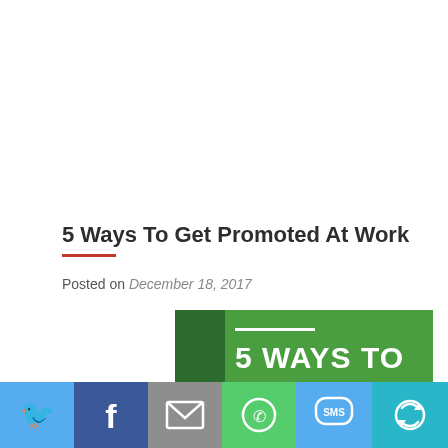5 Ways To Get Promoted At Work
Posted on December 18, 2017
[Figure (illustration): Green gradient banner image with white bold text reading '5 WAYS TO GET PROMOTED AT WORK' with a white underline accent bar above]
[Figure (infographic): Social share bar with Twitter, Facebook, Email, WhatsApp, SMS, and other sharing buttons in blue, dark blue, gray, green, light blue, and teal colors]